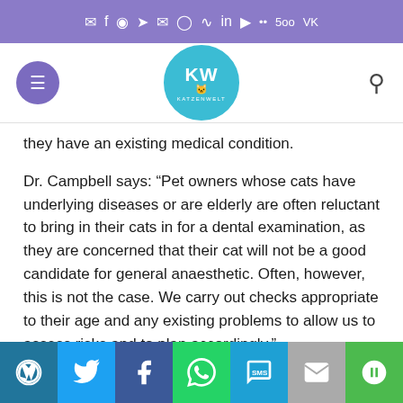Social media top bar with icons
[Figure (logo): Katzenwelt logo - circular teal logo with cat face and KW letters, menu hamburger button on left, search icon on right]
they have an existing medical condition.
Dr. Campbell says: “Pet owners whose cats have underlying diseases or are elderly are often reluctant to bring in their cats in for a dental examination, as they are concerned that their cat will not be a good candidate for general anaesthetic. Often, however, this is not the case. We carry out checks appropriate to their age and any existing problems to allow us to assess risks and to plan accordingly.”
He added: “Cats should ideally have their teeth examined by a vet or nurse at least once every 12 months. Cats that have
Share bar: WordPress, Twitter, Facebook, WhatsApp, SMS, Email, More